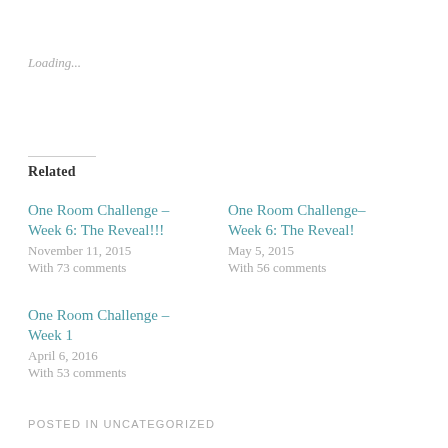Loading...
Related
One Room Challenge – Week 6: The Reveal!!!
November 11, 2015
With 73 comments
One Room Challenge– Week 6: The Reveal!
May 5, 2015
With 56 comments
One Room Challenge – Week 1
April 6, 2016
With 53 comments
POSTED IN UNCATEGORIZED